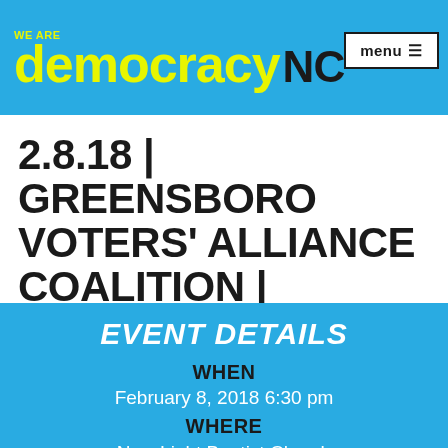WE ARE democracy NC | menu
2.8.18 | GREENSBORO VOTERS' ALLIANCE COALITION | GREENSBORO
EVENT DETAILS
WHEN
February 8, 2018 6:30 pm
WHERE
New Light Baptist Church 1105 Willow Road